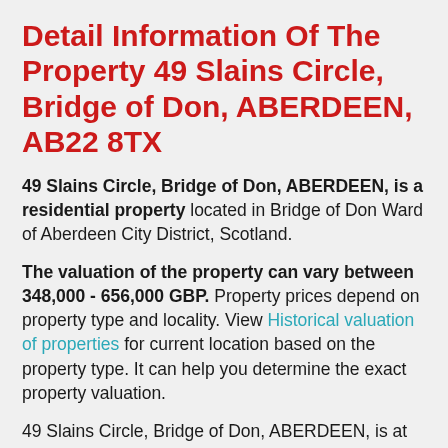Detail Information Of The Property 49 Slains Circle, Bridge of Don, ABERDEEN, AB22 8TX
49 Slains Circle, Bridge of Don, ABERDEEN, is a residential property located in Bridge of Don Ward of Aberdeen City District, Scotland.
The valuation of the property can vary between 348,000 - 656,000 GBP. Property prices depend on property type and locality. View Historical valuation of properties for current location based on the property type. It can help you determine the exact property valuation.
49 Slains Circle, Bridge of Don, ABERDEEN, is at the height of 85 meters above sea level. See